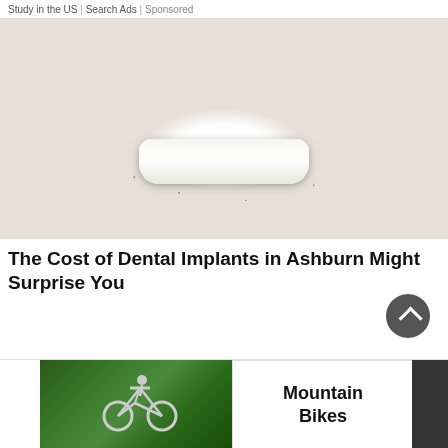Study in the US | Search Ads | Sponsored
[Figure (photo): Close-up photo of a man's lower face showing bright white teeth/dental implants, with stubble beard, against a dark background]
The Cost of Dental Implants in Ashburn Might Surprise You
[Figure (photo): Small photo of a mountain biker riding through green forest]
Mountain Bikes